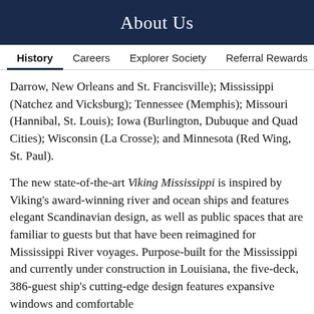About Us
History | Careers | Explorer Society | Referral Rewards
Darrow, New Orleans and St. Francisville); Mississippi (Natchez and Vicksburg); Tennessee (Memphis); Missouri (Hannibal, St. Louis); Iowa (Burlington, Dubuque and Quad Cities); Wisconsin (La Crosse); and Minnesota (Red Wing, St. Paul).
The new state-of-the-art Viking Mississippi is inspired by Viking's award-winning river and ocean ships and features elegant Scandinavian design, as well as public spaces that are familiar to guests but that have been reimagined for Mississippi River voyages. Purpose-built for the Mississippi and currently under construction in Louisiana, the five-deck, 386-guest ship's cutting-edge design features expansive windows and comfortable